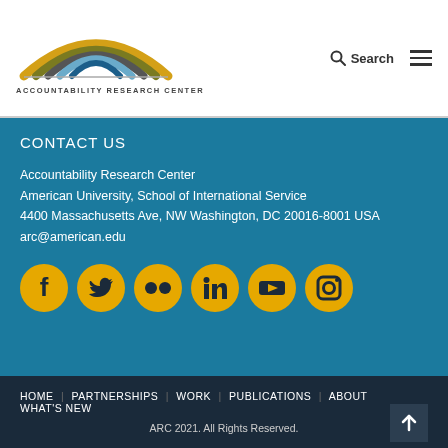[Figure (logo): Accountability Research Center logo with rainbow arc graphic in gold, olive, teal, blue, and gray colors, and text 'ACCOUNTABILITY RESEARCH CENTER' below]
Search
CONTACT US
Accountability Research Center
American University, School of International Service
4400 Massachusetts Ave, NW Washington, DC 20016-8001 USA
arc@american.edu
[Figure (infographic): Six yellow circular social media icons: Facebook, Twitter, Flickr, LinkedIn, YouTube, Instagram]
HOME | PARTNERSHIPS | WORK | PUBLICATIONS | ABOUT | WHAT'S NEW
ARC 2021. All Rights Reserved.